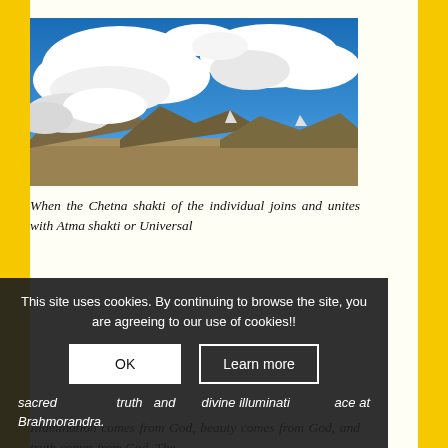[Figure (photo): Landscape photo of arid desert terrain with sand/gravel plains, distant mountains, and a dramatic blue sky filled with large white cumulus clouds.]
When the Chetna shakti of the individual joins and unites with Atma shakti or Universal sacred truth and divine illumination place at Brahmorandra. Illumination comes from God, beauty comes from God, and truth comes from God. The
This site uses cookies. By continuing to browse the site, you are agreeing to our use of cookies!!